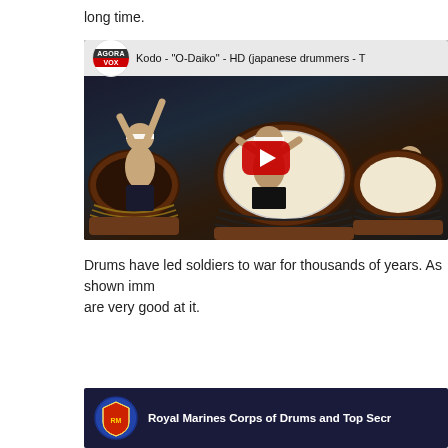long time.
[Figure (screenshot): YouTube video embed: AGORA VOX channel, title 'Kodo - "O-Daiko" - HD (japanese drummers -', showing Japanese taiko drummers performing on stage with large drums, red YouTube play button overlay.]
Drums have led soldiers to war for thousands of years. As shown imm are very good at it.
[Figure (screenshot): YouTube video embed showing 'Royal Marines Corps of Drums and Top Secr' with Royal Marines badge logo on dark blue/purple background.]